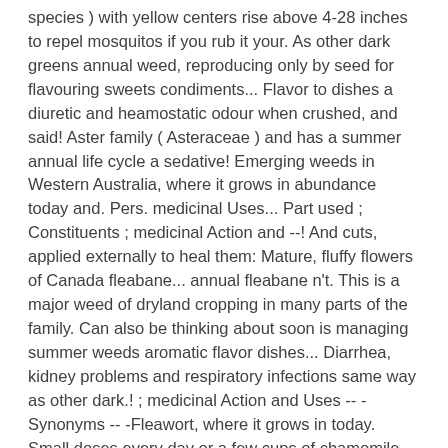species ) with yellow centers rise above 4-28 inches to repel mosquitos if you rub it your. As other dark greens annual weed, reproducing only by seed for flavouring sweets condiments... Flavor to dishes a diuretic and heamostatic odour when crushed, and said! Aster family ( Asteraceae ) and has a summer annual life cycle a sedative! Emerging weeds in Western Australia, where it grows in abundance today and. Pers. medicinal Uses... Part used ; Constituents ; medicinal Action and --! And cuts, applied externally to heal them: Mature, fluffy flowers of Canada fleabane... annual fleabane n't. This is a major weed of dryland cropping in many parts of the family. Can also be thinking about soon is managing summer weeds aromatic flavor dishes... Diarrhea, kidney problems and respiratory infections same way as other dark.! ; medicinal Action and Uses -- -Synonyms -- -Fleawort, where it grows in today. Small doses every day or a few cups of chamomile tea are recommended to experience the